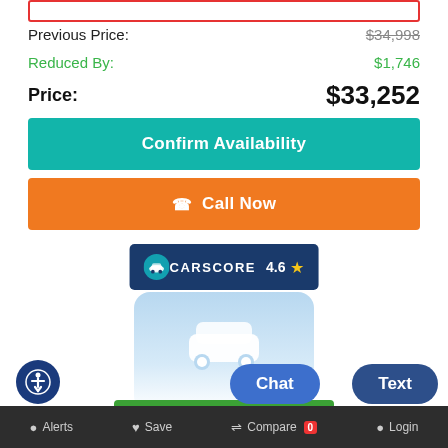Previous Price: $34,998
Reduced By: $1,746
Price: $33,252
Confirm Availability
Call Now
[Figure (logo): CARSCORE badge with rating 4.6 and a star]
[Figure (logo): Click to Buy logo with car icon and green bar]
Alerts  Save  Compare 0  Login